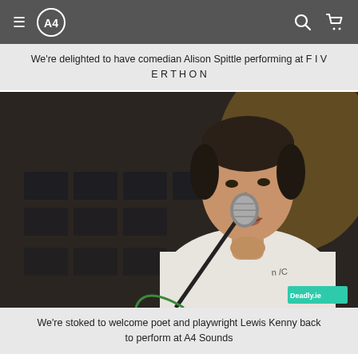Navigation bar with hamburger menu, logo, search and cart icons
We're delighted to have comedian Alison Spittle performing at FIVERTHON
[Figure (photo): Young man speaking or performing at a microphone, wearing a white t-shirt, photographed in a dimly lit venue. A 'Deadly.ie' watermark appears in the bottom right corner.]
We're stoked to welcome poet and playwright Lewis Kenny back to perform at A4 Sounds